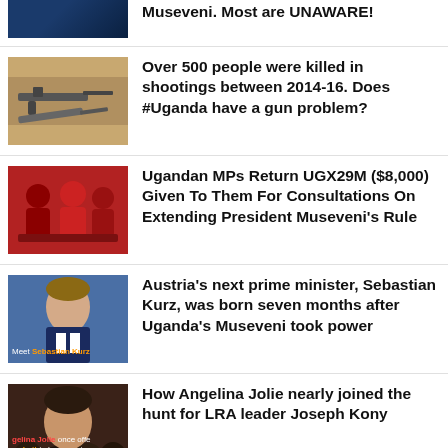Museveni. Most are UNAWARE!
Over 500 people were killed in shootings between 2014-16. Does #Uganda have a gun problem?
Ugandan MPs Return UGX29M ($8,000) Given To Them For Consultations On Extending President Museveni’s Rule
Austria’s next prime minister, Sebastian Kurz, was born seven months after Uganda’s Museveni took power
How Angelina Jolie nearly joined the hunt for LRA leader Joseph Kony
Kampala, Uganda’s capital, is littered with ‘British’ roads, 55 years since independence